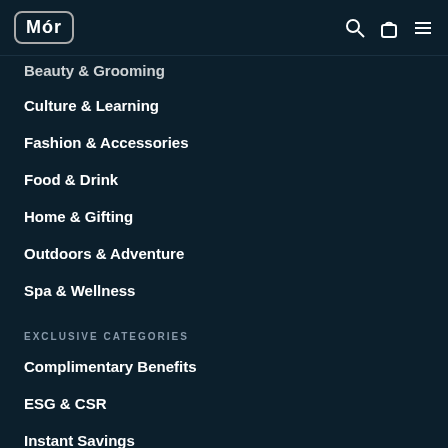Mór — navigation header with search, bag, and menu icons
Beauty & Grooming
Culture & Learning
Fashion & Accessories
Food & Drink
Home & Gifting
Outdoors & Adventure
Spa & Wellness
EXCLUSIVE CATEGORIES
Complimentary Benefits
ESG & CSR
Instant Savings
Life & Balance